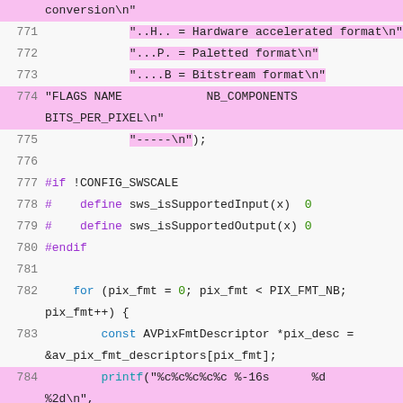Source code listing, lines 771-787, C code for pixel format display
[Figure (screenshot): Code editor screenshot showing C source code with syntax highlighting, lines 771-787]